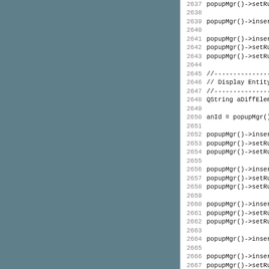[Figure (other): Teal/grey sidebar gutter column on the left side of a code viewer]
Code listing lines 2637-2668 showing C++ source code with popupMgr() calls, setRule, insert, separator, action numbers 213-220, and Display Entity comment block with QString aDiffElemsInVTK = aMeshInVTK and anId = popupMgr()->insert( tr( "MEN_D...